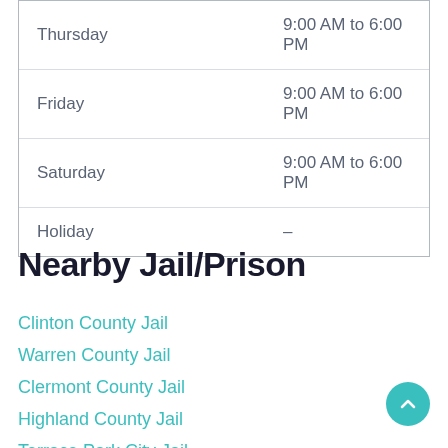| Day | Hours |
| --- | --- |
| Thursday | 9:00 AM to 6:00 PM |
| Friday | 9:00 AM to 6:00 PM |
| Saturday | 9:00 AM to 6:00 PM |
| Holiday | – |
Nearby Jail/Prison
Clinton County Jail
Warren County Jail
Clermont County Jail
Highland County Jail
Terrace Park City Jail
Blue Ash City Jail
Bethel City Jail